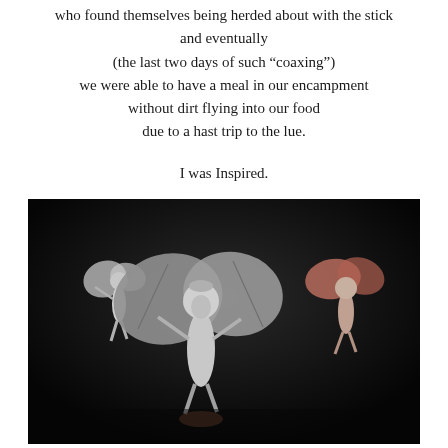who found themselves being herded about with the stick and eventually (the last two days of such “coaxing”) we were able to have a meal in our encampment without dirt flying into our food due to a hast trip to the lue.

I was Inspired.
[Figure (photo): Three silver fairy/pixie figurines photographed against a dark background. A smaller silver fairy is on the left, a large detailed silver fairy with wings is in the center, and another fairy figurine is on the right.]